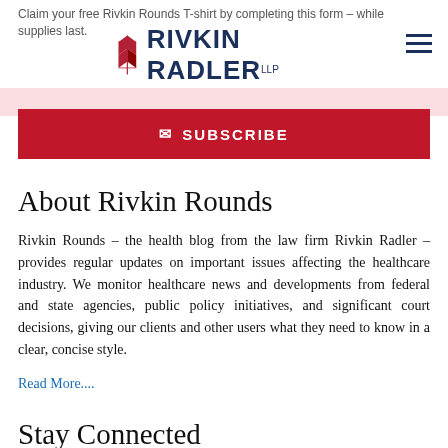Claim your free Rivkin Rounds T-shirt by completing this form – while supplies last.
[Figure (logo): Rivkin Radler LLP Attorneys at Law logo with red feather/quill icon]
SUBSCRIBE
About Rivkin Rounds
Rivkin Rounds – the health blog from the law firm Rivkin Radler – provides regular updates on important issues affecting the healthcare industry. We monitor healthcare news and developments from federal and state agencies, public policy initiatives, and significant court decisions, giving our clients and other users what they need to know in a clear, concise style.
Read More....
Stay Connected